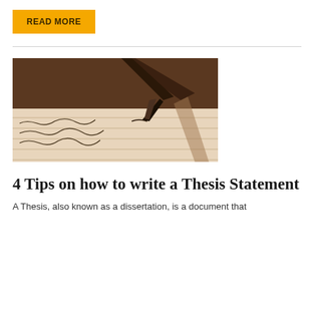READ MORE
[Figure (photo): Close-up photograph of a fountain pen nib writing cursive text on lined paper]
4 Tips on how to write a Thesis Statement
A Thesis, also known as a dissertation, is a document that